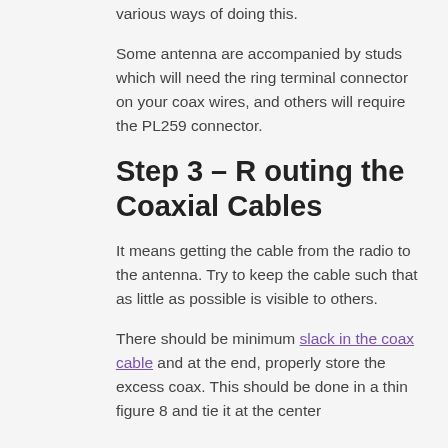various ways of doing this.
Some antenna are accompanied by studs which will need the ring terminal connector on your coax wires, and others will require the PL259 connector.
Step 3 – R outing the Coaxial Cables
It means getting the cable from the radio to the antenna. Try to keep the cable such that as little as possible is visible to others.
There should be minimum slack in the coax cable and at the end, properly store the excess coax. This should be done in a thin figure 8 and tie it at the center